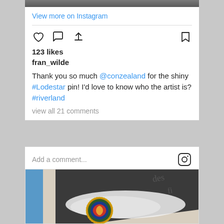[Figure (photo): Top strip of a photo, partially cropped]
View more on Instagram
[Figure (other): Instagram action icons: heart, comment bubble, share, and bookmark]
123 likes
fran_wilde
Thank you so much @conzealand for the shiny #Lodestar pin! I'd love to know who the artist is? #riverland
view all 21 comments
Add a comment...
[Figure (photo): Photo of a decorative enamel pin in a box with cotton padding, showing a circular badge with gold border and colorful design. Partial handwritten text visible on paper in background reading 'des' and 'fi'.]